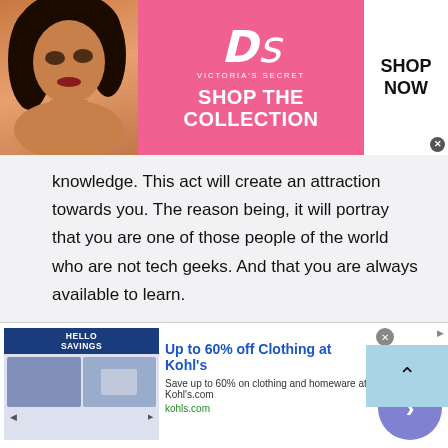[Figure (screenshot): Victoria's Secret advertisement banner with pink background, model on left, VS logo and 'SHOP THE COLLECTION' text, and 'SHOP NOW' button on right.]
knowledge. This act will create an attraction towards you. The reason being, it will portray that you are one of those people of the world who are not tech geeks. And that you are always available to learn.
How to attract people to talk?
Now since you will be on a platform where chat with
[Figure (screenshot): Kohl's advertisement: 'Up to 60% off Clothing at Kohl's' with savings imagery and navigation circle button.]